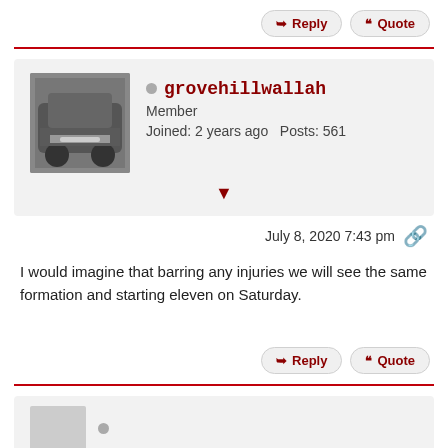Reply  Quote
grovehillwallah
Member
Joined: 2 years ago  Posts: 561
July 8, 2020 7:43 pm
I would imagine that barring any injuries we will see the same formation and starting eleven on Saturday.
Reply  Quote